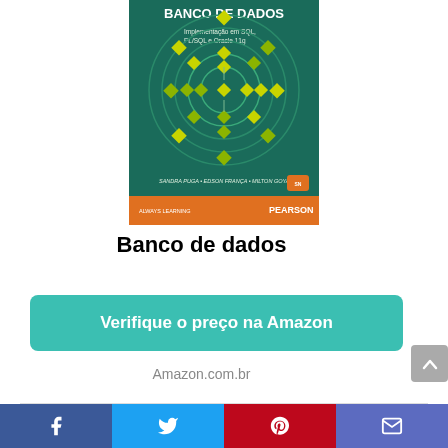[Figure (illustration): Book cover: 'Banco de dados - Implementação em SQL, PL/SQL e Oracle 11g' by Sandra Puga, Edson França, Milton Goya. Pearson/Always Learning publisher. Green cover with circular diagram of yellow/green diamond shapes, orange bottom band with PEARSON logo.]
Banco de dados
Verifique o preço na Amazon
Amazon.com.br
[Figure (photo): Partial view of another book cover at the bottom, spiral-bound, black and white texture visible.]
[Figure (infographic): Social share bar with Facebook, Twitter, Pinterest, and email icons at the bottom of the page.]